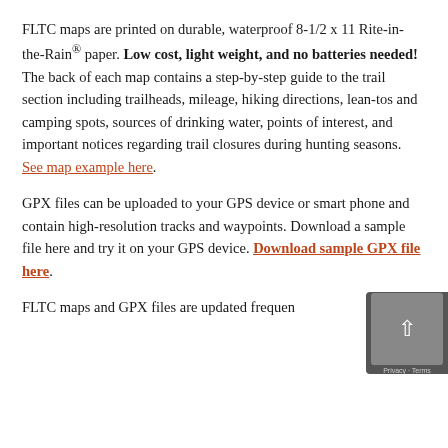FLTC maps are printed on durable, waterproof 8-1/2 x 11 Rite-in-the-Rain® paper. Low cost, light weight, and no batteries needed! The back of each map contains a step-by-step guide to the trail section including trailheads, mileage, hiking directions, lean-tos and camping spots, sources of drinking water, points of interest, and important notices regarding trail closures during hunting seasons.  See map example here.
GPX files can be uploaded to your GPS device or smart phone and contain high-resolution tracks and waypoints. Download a sample file here and try it on your GPS device. Download sample GPX file here.
FLTC maps and GPX files are updated frequen...